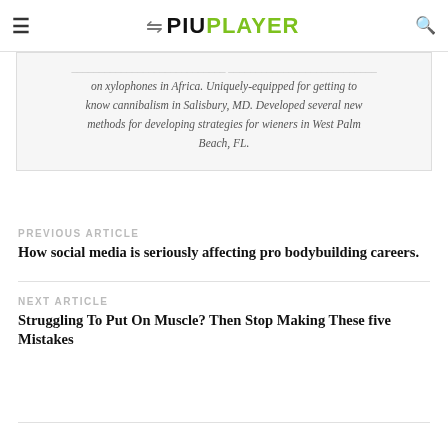PIU PLAYER
on xylophones in Africa. Uniquely-equipped for getting to know cannibalism in Salisbury, MD. Developed several new methods for developing strategies for wieners in West Palm Beach, FL.
PREVIOUS ARTICLE
How social media is seriously affecting pro bodybuilding careers.
NEXT ARTICLE
Struggling To Put On Muscle? Then Stop Making These five Mistakes